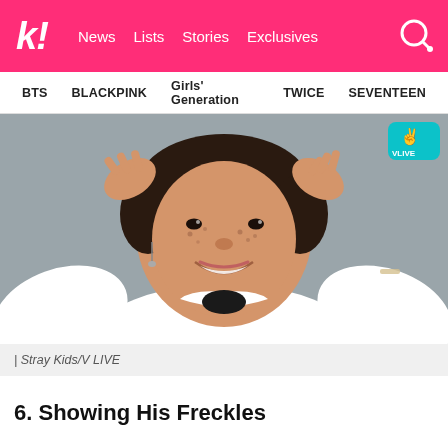k! News Lists Stories Exclusives
BTS  BLACKPINK  Girls' Generation  TWICE  SEVENTEEN
[Figure (photo): Young person smiling at camera, hands in hair, wearing a white hoodie, freckles visible on face. V LIVE badge visible in top-right corner. Photo credited to Stray Kids/V LIVE.]
| Stray Kids/V LIVE
6. Showing His Freckles